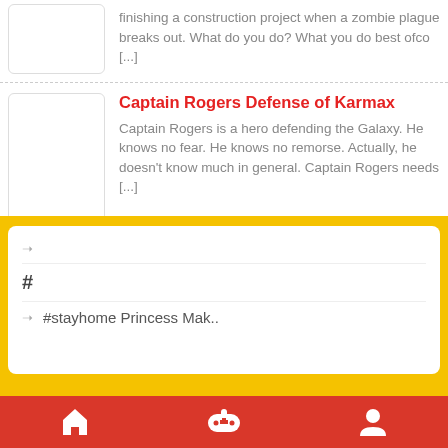finishing a construction project when a zombie plague breaks out. What do you do? What you do best ofco [...]
Captain Rogers Defense of Karmax
Captain Rogers is a hero defending the Galaxy. He knows no fear. He knows no remorse. Actually, he doesn't know much in general. Captain Rogers needs [...]
Squid Game Real Vs Barca
Welcome to the squid game!Play with Mouse
→
#
→ #stayhome Princess Mak..
Home | Games | Profile